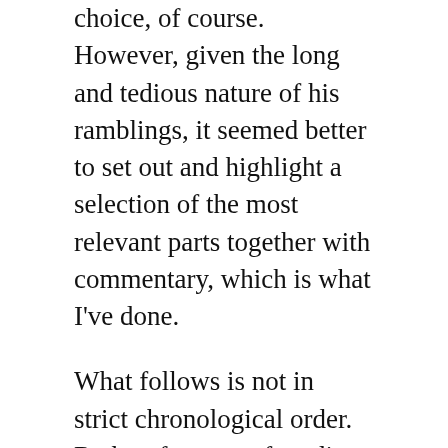choice, of course. However, given the long and tedious nature of his ramblings, it seemed better to set out and highlight a selection of the most relevant parts together with commentary, which is what I've done.
What follows is not in strict chronological order. Rather, for ease of reading, and in the hope of a more coherent structure, the commentary is arranged thematically, although the themes do tend to overlap somewhat – to bleed into one another, you could say. While the excerpts inevitably dart around between days and pages, nothing has been ripped out of context. That technique can safely be left to Jens Soering and his